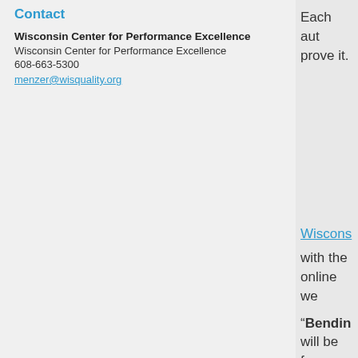Contact
Wisconsin Center for Performance Excellence
Wisconsin Center for Performance Excellence
608-663-5300
menzer@wisquality.org
Each aut prove it.
Wiscons with the online we
“Bendin will be fa manager